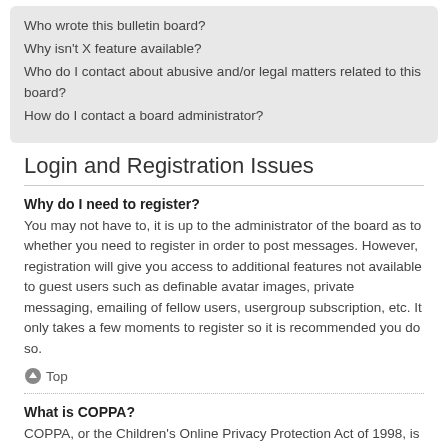Who wrote this bulletin board?
Why isn't X feature available?
Who do I contact about abusive and/or legal matters related to this board?
How do I contact a board administrator?
Login and Registration Issues
Why do I need to register?
You may not have to, it is up to the administrator of the board as to whether you need to register in order to post messages. However, registration will give you access to additional features not available to guest users such as definable avatar images, private messaging, emailing of fellow users, usergroup subscription, etc. It only takes a few moments to register so it is recommended you do so.
Top
What is COPPA?
COPPA, or the Children's Online Privacy Protection Act of 1998, is a law in the United States requiring websites which can potentially collect information from minors under the age of 13 to have written parental consent or some other method of legal guardian acknowledgment, allowing the collection of personally identifiable information from a minor